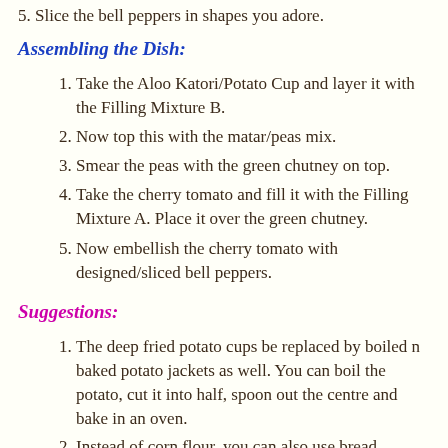5. Slice the bell peppers in shapes you adore.
Assembling the Dish:
1. Take the Aloo Katori/Potato Cup and layer it with the Filling Mixture B.
2. Now top this with the matar/peas mix.
3. Smear the peas with the green chutney on top.
4. Take the cherry tomato and fill it with the Filling Mixture A. Place it over the green chutney.
5. Now embellish the cherry tomato with designed/sliced bell peppers.
Suggestions:
1. The deep fried potato cups be replaced by boiled n baked potato jackets as well. You can boil the potato, cut it into half, spoon out the centre and bake in an oven.
2. Instead of corn flour, you can also use bread crumbs in the potato bowl for that extra crisp.
3. Do not store the potato cups in a closed container else